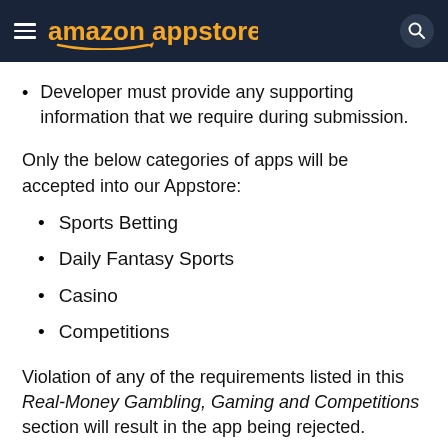amazon appstore
Developer must provide any supporting information that we require during submission.
Only the below categories of apps will be accepted into our Appstore:
Sports Betting
Daily Fantasy Sports
Casino
Competitions
Violation of any of the requirements listed in this Real-Money Gambling, Gaming and Competitions section will result in the app being rejected.